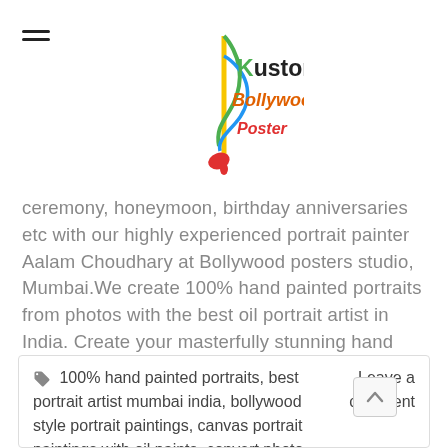[Figure (logo): Kustom Bollywood Poster logo with musical note and colorful lettering]
ceremony, honeymoon, birthday anniversaries etc with our highly experienced portrait painter Aalam Choudhary at Bollywood posters studio, Mumbai.We create 100% hand painted portraits from photos with the best oil portrait artist in India. Create your masterfully stunning hand painted portraits at affordable price available in all sizes.
🏷 100% hand painted portraits, best portrait artist mumbai india, bollywood style portrait paintings, canvas portrait paintings with oil paints, convert photo to hand painted portrait, create portrait painting from photos, custom portrait paintings, family portrait paintings, hand painted
Leave a comment